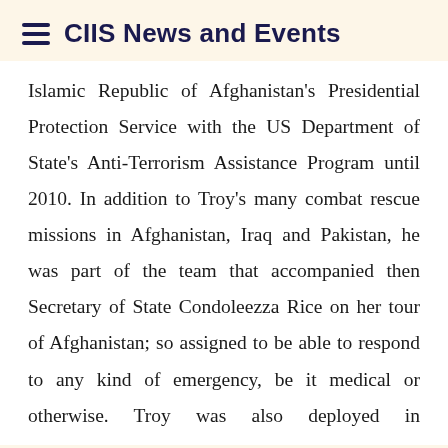CIIS News and Events
Islamic Republic of Afghanistan's Presidential Protection Service with the US Department of State's Anti-Terrorism Assistance Program until 2010. In addition to Troy's many combat rescue missions in Afghanistan, Iraq and Pakistan, he was part of the team that accompanied then Secretary of State Condoleezza Rice on her tour of Afghanistan; so assigned to be able to respond to any kind of emergency, be it medical or otherwise. Troy was also deployed in humanitarian rescues that are necessitated by natural disasters such as Hurricane Floyd that battered the East Coast in 1999 and the